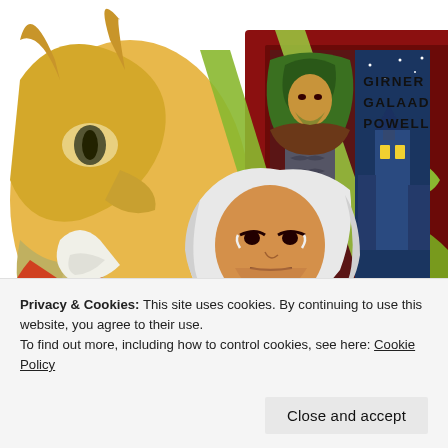[Figure (illustration): Fantasy comic book cover illustration showing a cloaked warrior figure in center with horned dragon/creature on left, white-haired character in foreground bottom center, and a night cityscape panel on the right. Bold colors: red, gold, yellow-green, brown.]
GIRNER
GALAAD
POWELL
Privacy & Cookies: This site uses cookies. By continuing to use this website, you agree to their use.
To find out more, including how to control cookies, see here: Cookie Policy
Close and accept
WORDPRESS.COM